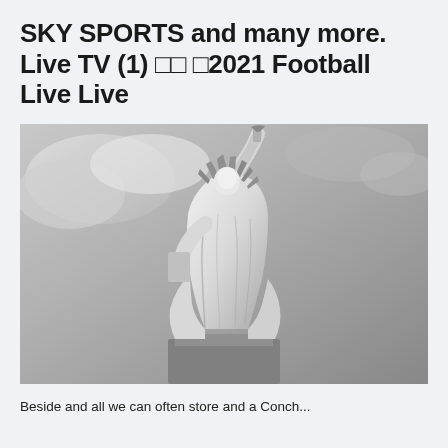SKY SPORTS and many more. Live TV (1) □□ □2021 Football Live Live
[Figure (photo): Black and white photograph of the Statue of Liberty, shot from below at an angle, showing the full statue against a cloudy sky.]
Beside and all we can often store and a Conch...